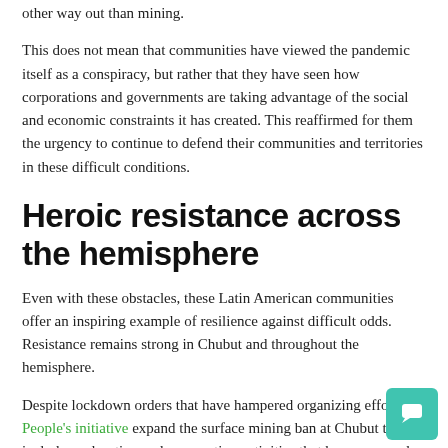other way out than mining.
This does not mean that communities have viewed the pandemic itself as a conspiracy, but rather that they have seen how corporations and governments are taking advantage of the social and economic constraints it has created. This reaffirmed for them the urgency to continue to defend their communities and territories in these difficult conditions.
Heroic resistance across the hemisphere
Even with these obstacles, these Latin American communities offer an inspiring example of resilience against difficult odds. Resistance remains strong in Chubut and throughout the hemisphere.
Despite lockdown orders that have hampered organizing efforts, a People's initiative expand the surface mining ban at Chubut to include exploration and prospecting activities that have garnered twice the signatures required by law to qualify. This initiative was rejected without debate in 2021 before the legislator tried to reverse